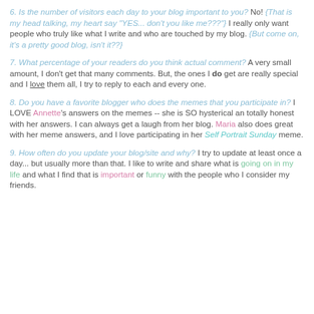6. Is the number of visitors each day to your blog important to you? No! {That is my head talking, my heart say "YES... don't you like me???"} I really only want people who truly like what I write and who are touched by my blog. {But come on, it's a pretty good blog, isn't it??}
7. What percentage of your readers do you think actual comment? A very small amount, I don't get that many comments. But, the ones I do get are really special and I love them all, I try to reply to each and every one.
8. Do you have a favorite blogger who does the memes that you participate in? I LOVE Annette's answers on the memes -- she is SO hysterical an totally honest with her answers. I can always get a laugh from her blog. Maria also does great with her meme answers, and I love participating in her Self Portrait Sunday meme.
9. How often do you update your blog/site and why? I try to update at least once a day... but usually more than that. I like to write and share what is going on in my life and what I find that is important or funny with the people who I consider my friends.